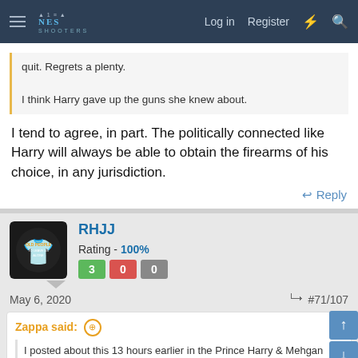NES SHOOTERS — Log in | Register
quit. Regrets a plenty.

I think Harry gave up the guns she knew about.
I tend to agree, in part. The politically connected like Harry will always be able to obtain the firearms of his choice, in any jurisdiction.
↩ Reply
RHJJ — Rating - 100% | 3 | 0 | 0
May 6, 2020  #71/107
Zappa said:
I posted about this 13 hours earlier in the Prince Harry & Mehgan Markle thread, but nobody cared.
Now that a new thread was started, it gets 64 replies in an afternoon.